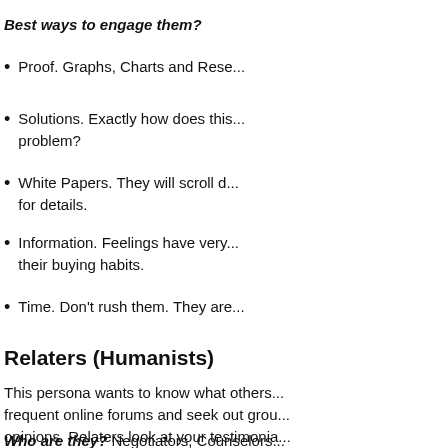Best ways to engage them?
Proof. Graphs, Charts and Rese...
Solutions. Exactly how does this... problem?
White Papers. They will scroll d... for details.
Information. Feelings have very... their buying habits.
Time. Don't rush them. They are...
Relaters (Humanists)
This persona wants to know what others... frequent online forums and seek out grou... opinions. Relaters look at your testimonia... satisfied customers to support their decis... out of their way to avoid buyer's remorse... purchase.
Who are they? Negotiators, Counselors...
What they want? Stability, Consensus...